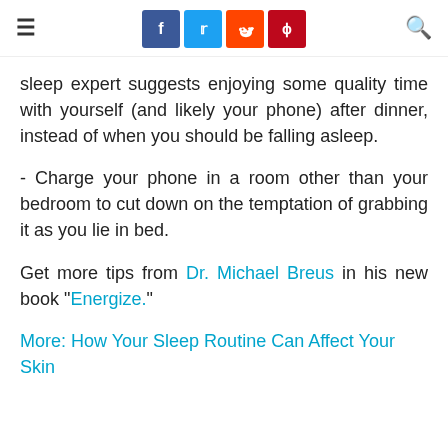≡ [social icons: f, twitter, reddit, pinterest] [search icon]
sleep expert suggests enjoying some quality time with yourself (and likely your phone) after dinner, instead of when you should be falling asleep.
- Charge your phone in a room other than your bedroom to cut down on the temptation of grabbing it as you lie in bed.
Get more tips from Dr. Michael Breus in his new book "Energize."
More: How Your Sleep Routine Can Affect Your Skin